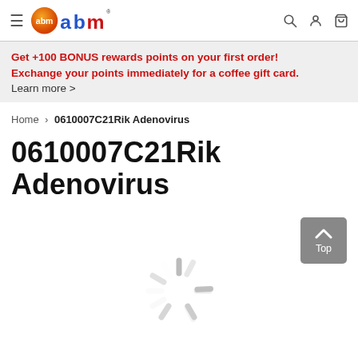ABM logo and navigation header
Get +100 BONUS rewards points on your first order! Exchange your points immediately for a coffee gift card. Learn more >
Home > 0610007C21Rik Adenovirus
0610007C21Rik Adenovirus
[Figure (other): Loading spinner icon and Top navigation button]